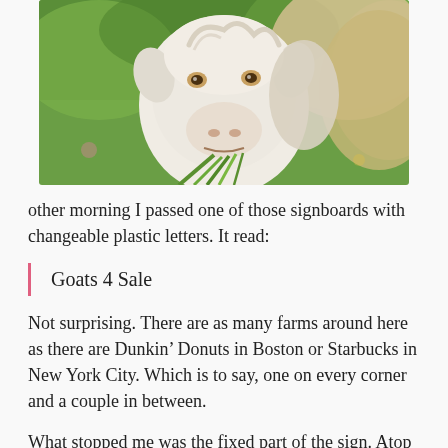[Figure (photo): Close-up photo of a white/cream-colored goat eating green grass or plant leaves, with a green outdoor background]
other morning I passed one of those signboards with changeable plastic letters. It read:
Goats 4 Sale
Not surprising. There are as many farms around here as there are Dunkin’ Donuts in Boston or Starbucks in New York City. Which is to say, one on every corner and a couple in between.
What stopped me was the fixed part of the sign. Atop the wooden frame that held the signboard in